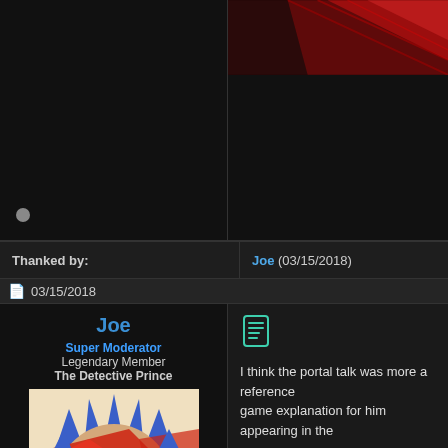[Figure (illustration): Dark background with partial abstract red/dark image in top right corner and a small circular gray icon at bottom left]
Thanked by:
Joe (03/15/2018)
03/15/2018
Joe
Super Moderator
Legendary Member
The Detective Prince
[Figure (illustration): Avatar image of a character with blue spiky hair and red/tan color palette, stylized comic/anime art]
Join Date: Apr 2010
Age: 31
Sex: Male
Location: Landan
AKA: Joe, Arcana
[Figure (illustration): Small document/scroll icon in teal/green color]
I think the portal talk was more a reference game explanation for him appearing in the
Reject com
Thanked by:
X-SOLDIER (03/15/2018)